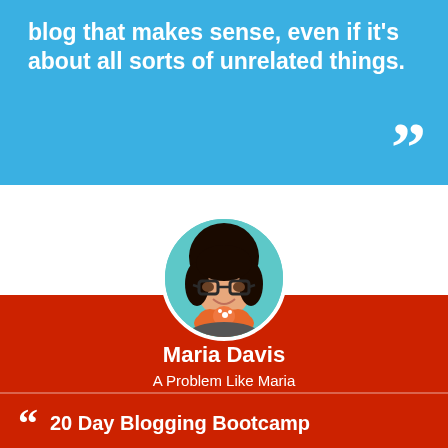blog that makes sense, even if it's about all sorts of unrelated things.
[Figure (photo): Portrait photo of Maria Davis, a woman with dark hair and glasses holding orange flowers, shown in a circular frame]
Maria Davis
A Problem Like Maria
20 Day Blogging Bootcamp
As a web designer, Maria helps bloggers define their brands and build beautiful